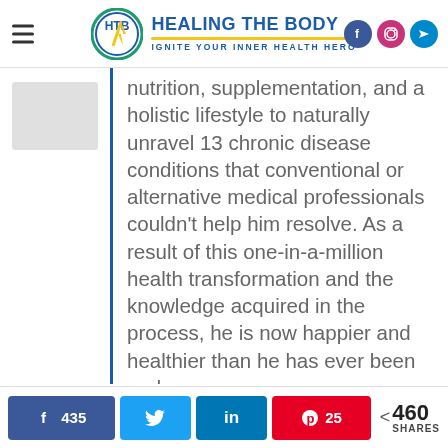HEALING THE BODY — IGNITE YOUR INNER HEALTH HERO
nutrition, supplementation, and a holistic lifestyle to naturally unravel 13 chronic disease conditions that conventional or alternative medical professionals couldn't help him resolve. As a result of this one-in-a-million health transformation and the knowledge acquired in the process, he is now happier and healthier than he has ever been and now
435 [Facebook] [Twitter] [LinkedIn] 25 [Pinterest] < 460 SHARES